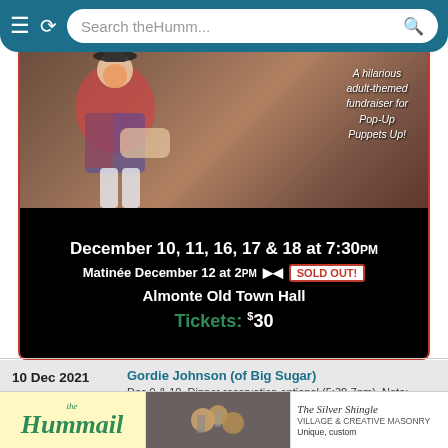Search theHumm...
[Figure (photo): Event advertisement for Pop-Up Puppets Up! showing a puppet/clown figure with text overlay: 'A hilarious adult-themed fundraiser for Pop-Up Puppets Up!' and event details. December 10, 11, 16, 17 & 18 at 7:30PM. Matinee December 12 at 2PM - SOLD OUT! Almonte Old Town Hall. Tickets: $30]
10 Dec 2021
Friday
Gordie Johnson (of Big Sugar)
Dec 9 & 10. Dinner reservation optional (5:30-7pm). Note: dinner not included in ticket.
Thu, Dec 9, 2021 - Fri, Dec 10, 2021
Time: 8:00PM
Neat Coffee Shop - Burnstown
[Figure (logo): the Hummail logo - teal/green cursive text on yellow background]
[Figure (photo): Close-up photo of jewelry/rings on dark background]
[Figure (logo): The Silver Shingle - Unique, custom text on white background]